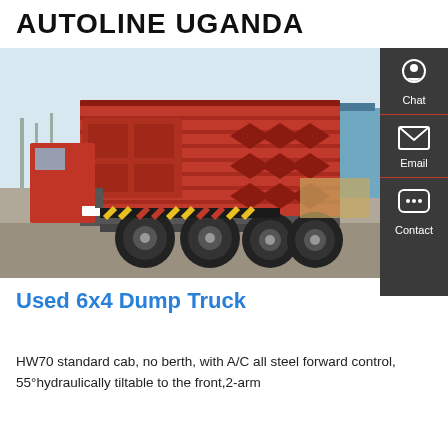AUTOLINE UGANDA
[Figure (photo): Red 6x4 dump truck photographed from the rear-left angle in an industrial yard, showing the red tipper body with diamond-pattern reinforcements, dual rear axles, and yellow/red chevron markings on the rear bumper.]
Used 6x4 Dump Truck
HW70 standard cab, no berth, with A/C all steel forward control, 55°hydraulically tiltable to the front,2-arm